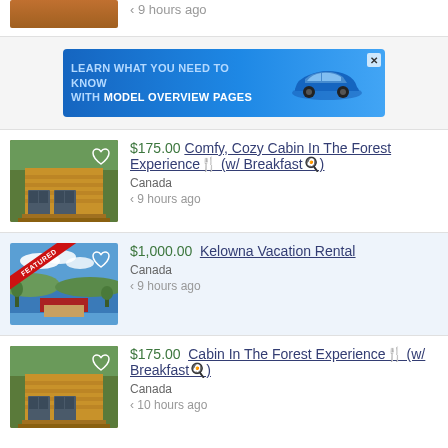[Figure (photo): Partial listing image at top of page, cropped cabin/house exterior]
< 9 hours ago
[Figure (screenshot): Advertisement banner: LEARN WHAT YOU NEED TO KNOW WITH MODEL OVERVIEW PAGES, with image of a blue car on the right]
[Figure (photo): Thumbnail of a log cabin with grey doors and wooden exterior]
$175.00 Comfy, Cozy Cabin In The Forest Experience (w/ Breakfast)
Canada
< 9 hours ago
[Figure (photo): Thumbnail of Kelowna vacation rental showing lakeside aerial view with red roof, featured badge in corner]
$1,000.00 Kelowna Vacation Rental
Canada
< 9 hours ago
[Figure (photo): Thumbnail of cabin in forest, same as first listing]
$175.00 Cabin In The Forest Experience (w/ Breakfast)
Canada
< 10 hours ago